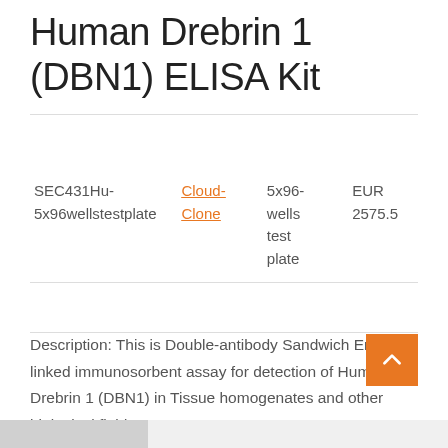Human Drebrin 1 (DBN1) ELISA Kit
| Catalog | Brand | Size | Price |
| --- | --- | --- | --- |
| SEC431Hu-5x96wellstestplate | Cloud-Clone | 5x96-wells test plate | EUR 2575.5 |
Description: This is Double-antibody Sandwich Enzyme-linked immunosorbent assay for detection of Human Drebrin 1 (DBN1) in Tissue homogenates and other biological fluids.